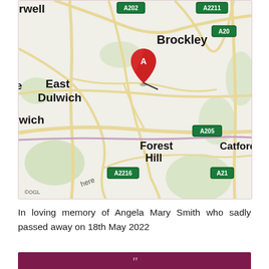[Figure (map): Street map of South-East London showing Brockley area with a red map pin marker labelled 'A'. Visible neighbourhoods include East Dulwich, Brockley, Forest Hill, Catford. Road labels visible: A202, A2211, A20, A205, A2216, A21. Map attribution: HERE, ©OGL.]
In loving memory of Angela Mary Smith who sadly passed away on 18th May 2022
[Figure (other): Dark maroon/purple banner strip at the bottom with decorative opening quotation marks in pink.]